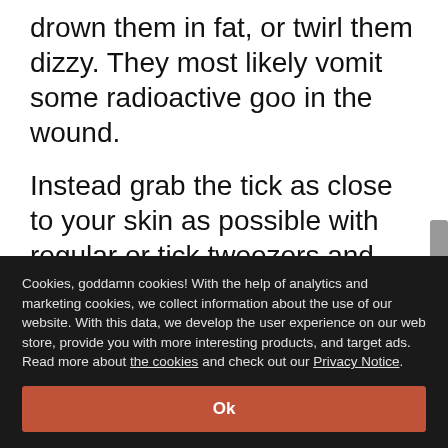drown them in fat, or twirl them dizzy. They most likely vomit some radioactive goo in the wound.
Instead grab the tick as close to your skin as possible with regular or tick tweezers and pull upward with steady pressure. Don't yank, squeeze, or twist it because some bits can be left in the wound. Ticks don't die easily so you should really put some effort into their murdering. Beat them
Cookies, goddamn cookies! With the help of analytics and marketing cookies, we collect information about the use of our website. With this data, we develop the user experience on our web store, provide you with more interesting products, and target ads. Read more about the cookies and check out our Privacy Notice.
Ok